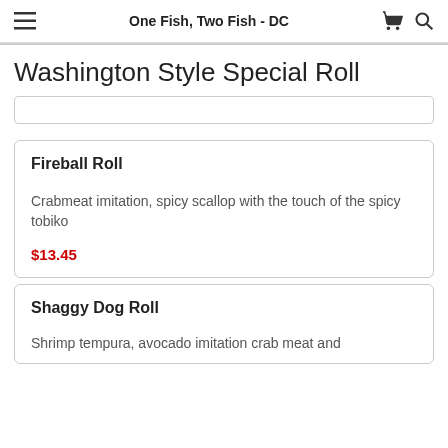One Fish, Two Fish - DC
Washington Style Special Roll
Fireball Roll
Crabmeat imitation, spicy scallop with the touch of the spicy tobiko
$13.45
Shaggy Dog Roll
Shrimp tempura, avocado imitation crab meat and